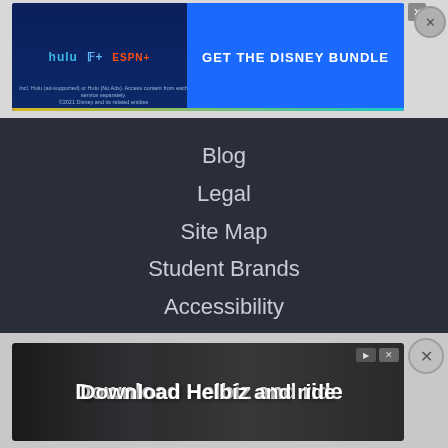[Figure (screenshot): Disney Bundle advertisement banner showing Hulu, Disney+, and ESPN+ logos with 'GET THE DISNEY BUNDLE' call to action on blue background]
Blog
Legal
Site Map
Student Brands
Accessibility
Privacy
CA Privacy Policy
SUPPORT
Help
Contact Us
[Figure (screenshot): Helbiz advertisement banner showing 'Download Helbiz and ride' with a dark photo background]